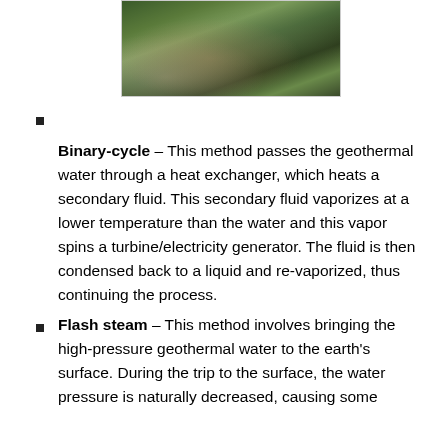[Figure (photo): Photograph of a geothermal area with trees and steam/mist rising from the ground, partially visible at top of page]
Binary-cycle – This method passes the geothermal water through a heat exchanger, which heats a secondary fluid. This secondary fluid vaporizes at a lower temperature than the water and this vapor spins a turbine/electricity generator. The fluid is then condensed back to a liquid and re-vaporized, thus continuing the process.
Flash steam – This method involves bringing the high-pressure geothermal water to the earth's surface. During the trip to the surface, the water pressure is naturally decreased, causing some